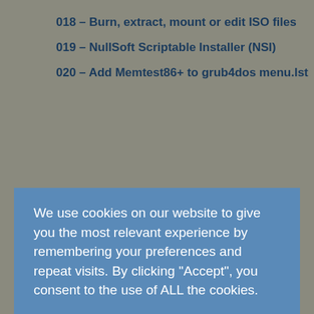018 – Burn, extract, mount or edit ISO files
019 – NullSoft Scriptable Installer (NSI)
020 – Add Memtest86+ to grub4dos menu.lst
We use cookies on our website to give you the most relevant experience by remembering your preferences and repeat visits. By clicking "Accept", you consent to the use of ALL the cookies.
Do not sell my personal information.
Cookie settings  ACCEPT
022 – How to boot PCLinux without using a 'flat-file' structure
023 – How to fix a 'corrupt' USB drive (Windows